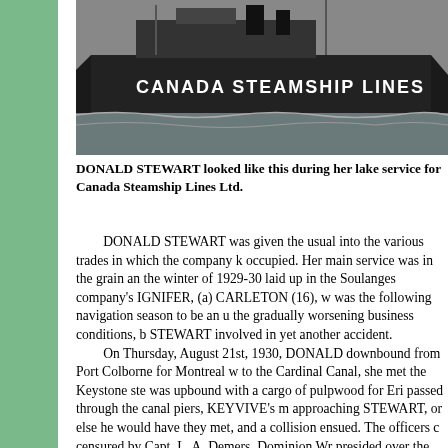[Figure (photo): Black and white photograph of a ship with 'CANADA STEAMSHIP LINES' written on its hull, photographed on open water.]
DONALD STEWART looked like this during her lake service for Canada Steamship Lines Ltd.
DONALD STEWART was given the usual into the various trades in which the company k occupied. Her main service was in the grain an the winter of 1929-30 laid up in the Soulanges company's IGNIFER, (a) CARLETON (16), w was the following navigation season to be an u the gradually worsening business conditions, b STEWART involved in yet another accident. On Thursday, August 21st, 1930, DONALD downbound from Port Colborne for Montreal w to the Cardinal Canal, she met the Keystone ste was upbound with a cargo of pulpwood for Eri passed through the canal piers, KEYVIVE's m approaching STEWART, or else he would have they met, and a collision ensued. The officers c censured by Capt. L. A. Demers, Dominion Wr presided over the subsequent enquiry, and it se